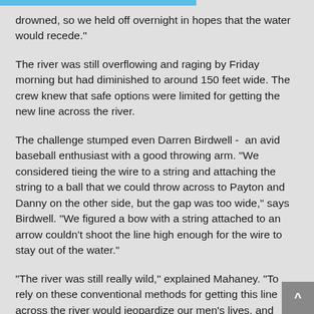drowned, so we held off overnight in hopes that the water would recede."
The river was still overflowing and raging by Friday morning but had diminished to around 150 feet wide. The crew knew that safe options were limited for getting the new line across the river.
The challenge stumped even Darren Birdwell -  an avid baseball enthusiast with a good throwing arm. "We considered tieing the wire to a string and attaching the string to a ball that we could throw across to Payton and Danny on the other side, but the gap was too wide," says Birdwell. "We figured a bow with a string attached to an arrow couldn't shoot the line high enough for the wire to stay out of the water."
"The river was still really wild," explained Mahaney. "To rely on these conventional methods for getting this line across the river would jeopardize our men's lives, and that's a risk we weren't going to take."